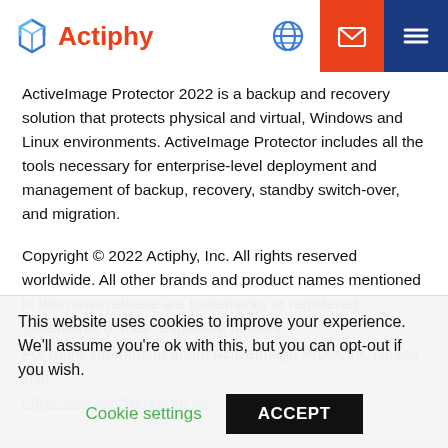[Figure (logo): Actiphy logo with blue swirling hexagonal icon and red text 'Actiphy', plus navigation icons: globe, mail (orange background), menu (dark blue background)]
ActiveImage Protector 2022 is a backup and recovery solution that protects physical and virtual, Windows and Linux environments. ActiveImage Protector includes all the tools necessary for enterprise-level deployment and management of backup, recovery, standby switch-over, and migration.
Copyright © 2022 Actiphy, Inc. All rights reserved worldwide. All other brands and product names mentioned in this news release are trademarks or registered trademarks of their respective holders.
For more information about ActiveImage Protector, please visit:
https://www.actiphy.com.au
This website uses cookies to improve your experience. We'll assume you're ok with this, but you can opt-out if you wish.
Cookie settings  ACCEPT